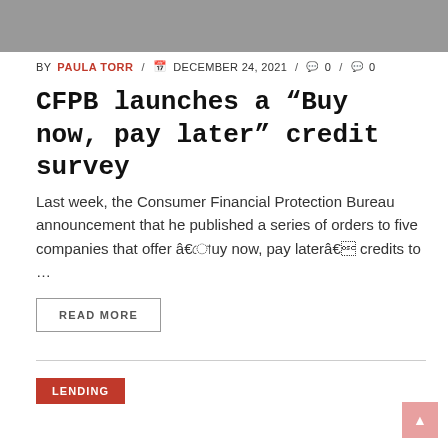[Figure (photo): Gray banner image at the top of the article]
BY PAULA TORR / DECEMBER 24, 2021 / 0 / 0
CFPB launches a “Buy now, pay later” credit survey
Last week, the Consumer Financial Protection Bureau announcement that he published a series of orders to five companies that offer “buy now, pay later” credits to …
READ MORE
LENDING